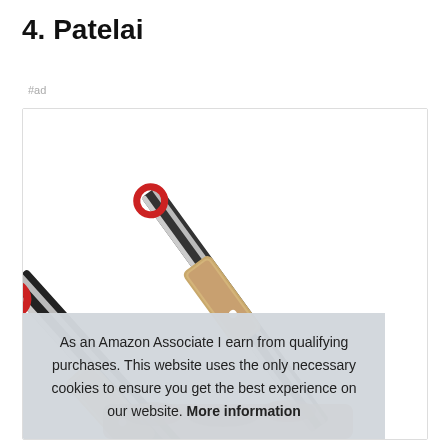4. Patelai
#ad
[Figure (photo): Two kitchen tongs with wooden handles and red silicone rings at the top, displayed diagonally against a white background inside a product listing box.]
As an Amazon Associate I earn from qualifying purchases. This website uses the only necessary cookies to ensure you get the best experience on our website. More information